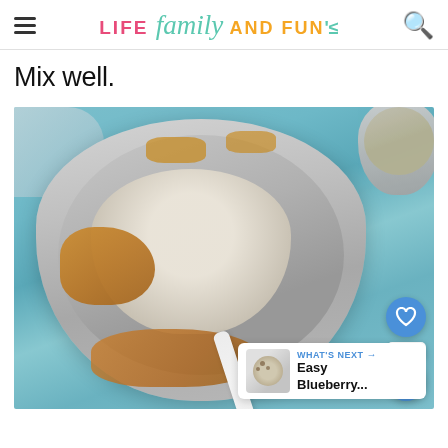LIFE family AND FUN
Mix well.
[Figure (photo): Overhead view of a mixing bowl with flour and batter ingredients being mixed together with a white spatula; a second bowl of flour visible in upper right; social sharing buttons and a 'What's Next: Easy Blueberry...' overlay on the right side of the photo.]